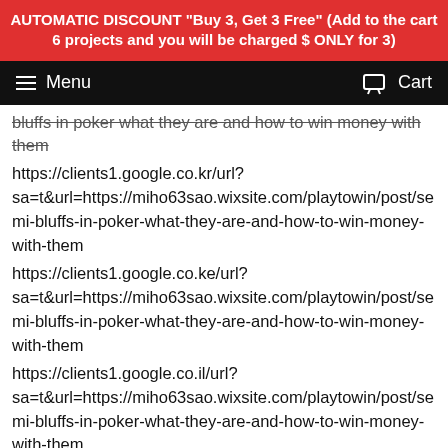AUTOMATIC DISCOUNT "Buy 3, Get 3 Free" (Add to the cart 6 projects and you will be charged $ ONLY for 3)
Menu  Cart
bluffs in poker what they are and how to win money with them
https://clients1.google.co.kr/url?sa=t&url=https://miho63sao.wixsite.com/playtowin/post/semi-bluffs-in-poker-what-they-are-and-how-to-win-money-with-them
https://clients1.google.co.ke/url?sa=t&url=https://miho63sao.wixsite.com/playtowin/post/semi-bluffs-in-poker-what-they-are-and-how-to-win-money-with-them
https://clients1.google.co.il/url?sa=t&url=https://miho63sao.wixsite.com/playtowin/post/semi-bluffs-in-poker-what-they-are-and-how-to-win-money-with-them
https://clients1.google.co.id/url?sa=t&url=https://miho63sao.wixsite.com/playtowin/post/semi-bluffs-in-poker-what-they-are-and-how-to-win-money-with-them